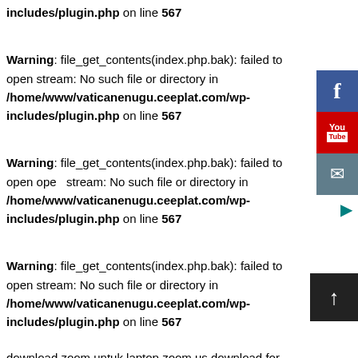includes/plugin.php on line 567
Warning: file_get_contents(index.php.bak): failed to open stream: No such file or directory in /home/www/vaticanenugu.ceeplat.com/wp-includes/plugin.php on line 567
Warning: file_get_contents(index.php.bak): failed to open stream: No such file or directory in /home/www/vaticanenugu.ceeplat.com/wp-includes/plugin.php on line 567
Warning: file_get_contents(index.php.bak): failed to open stream: No such file or directory in /home/www/vaticanenugu.ceeplat.com/wp-includes/plugin.php on line 567
download zoom untuk laptop zoom.us download for